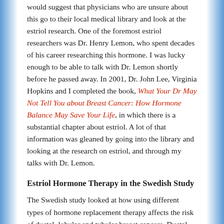would suggest that physicians who are unsure about this go to their local medical library and look at the estriol research. One of the foremost estriol researchers was Dr. Henry Lemon, who spent decades of his career researching this hormone. I was lucky enough to be able to talk with Dr. Lemon shortly before he passed away. In 2001, Dr. John Lee, Virginia Hopkins and I completed the book, What Your Dr May Not Tell You about Breast Cancer: How Hormone Balance May Save Your Life, in which there is a substantial chapter about estriol. A lot of that information was gleaned by going into the library and looking at the research on estriol, and through my talks with Dr. Lemon.
Estriol Hormone Therapy in the Swedish Study
The Swedish study looked at how using different types of hormone replacement therapy affects the risk of ductal, lobular and tubular breast cancers. Ductal carcinomas are much more prevalent than lobular or tubular carcinomas. The longer a woman uses HRT, the higher her risk is for all